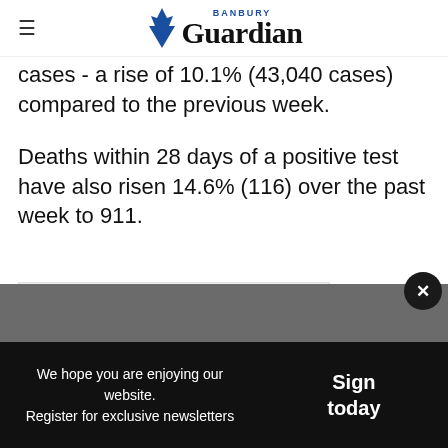Banbury Guardian
cases - a rise of 10.1% (43,040 cases) compared to the previous week.
Deaths within 28 days of a positive test have also risen 14.6% (116) over the past week to 911.
[Figure (other): Advertisement placeholder box]
...4.2 - but also sweep r around 8%
We hope you are enjoying our website. Register for exclusive newsletters
Sign today